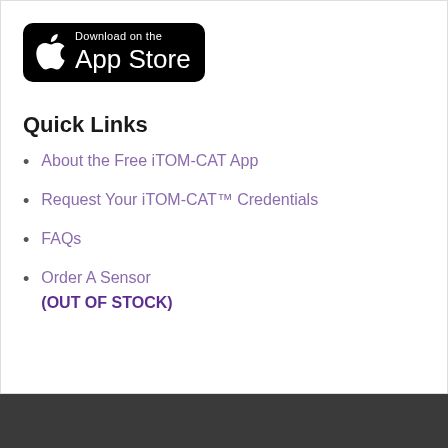[Figure (logo): Download on the App Store badge — black rounded rectangle with Apple logo and text 'Download on the App Store']
Quick Links
About the Free iTOM-CAT App
Request Your iTOM-CAT™ Credentials
FAQs
Order A Sensor (OUT OF STOCK)